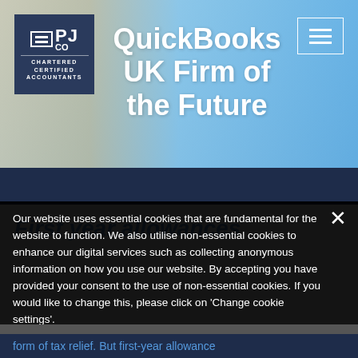[Figure (screenshot): PJ Co Chartered Certified Accountants logo on dark navy background in top left, hamburger menu button top right, hero section with light blue background and blurred object]
QuickBooks UK Firm of the Future
First year allowances
Our website uses essential cookies that are fundamental for the website to function. We also utilise non-essential cookies to enhance our digital services such as collecting anonymous information on how you use our website. By accepting you have provided your consent to the use of non-essential cookies. If you would like to change this, please click on 'Change cookie settings'.
Accept & Close
Change cookie settings
form of tax relief. But first-year allowance